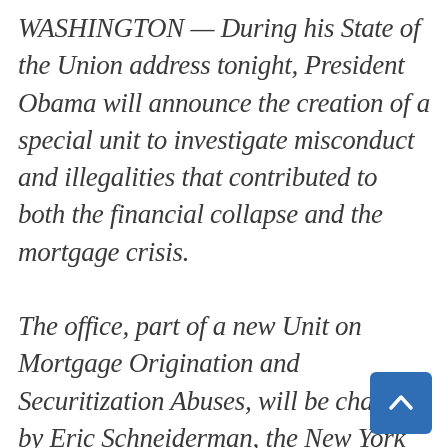WASHINGTON — During his State of the Union address tonight, President Obama will announce the creation of a special unit to investigate misconduct and illegalities that contributed to both the financial collapse and the mortgage crisis.

The office, part of a new Unit on Mortgage Origination and Securitization Abuses, will be chaired by Eric Schneiderman, the New York attorney general, according to a White House official.